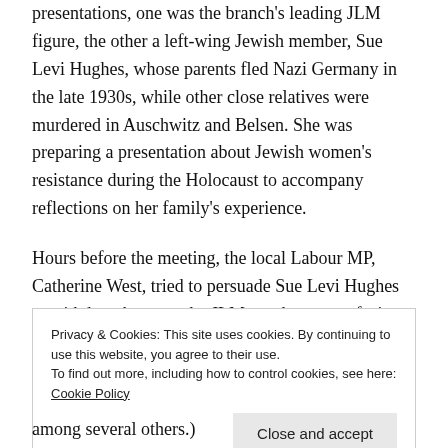presentations, one was the branch's leading JLM figure, the other a left-wing Jewish member, Sue Levi Hughes, whose parents fled Nazi Germany in the late 1930s, while other close relatives were murdered in Auschwitz and Belsen. She was preparing a presentation about Jewish women's resistance during the Holocaust to accompany reflections on her family's experience.
Hours before the meeting, the local Labour MP, Catherine West, tried to persuade Sue Levi Hughes to withdraw because the JLM speaker was refusing to share the platform with her. He cited a tweet she had
Privacy & Cookies: This site uses cookies. By continuing to use this website, you agree to their use.
To find out more, including how to control cookies, see here: Cookie Policy
among several others.)